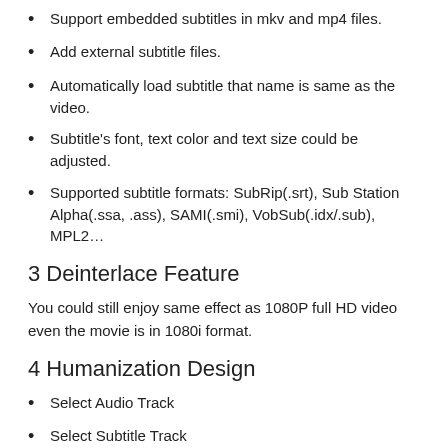Support embedded subtitles in mkv and mp4 files.
Add external subtitle files.
Automatically load subtitle that name is same as the video.
Subtitle's font, text color and text size could be adjusted.
Supported subtitle formats: SubRip(.srt), Sub Station Alpha(.ssa, .ass), SAMI(.smi), VobSub(.idx/.sub), MPL2…
3 Deinterlace Feature
You could still enjoy same effect as 1080P full HD video even the movie is in 1080i format.
4 Humanization Design
Select Audio Track
Select Subtitle Track
Set audio device (5.1, 2 front 2 rear, stereo, mono, A/52 over S/PDIF)